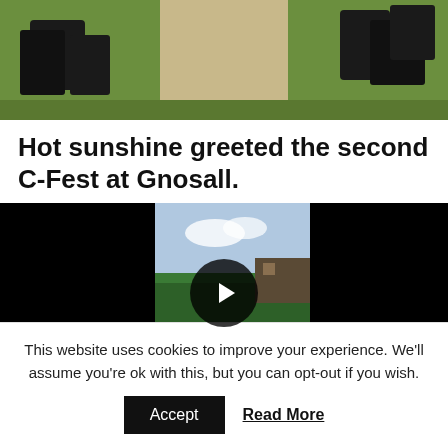[Figure (photo): Top portion of an outdoor photo showing black bins/equipment on grass with a path, cropped at the bottom.]
Hot sunshine greeted the second C-Fest at Gnosall.
[Figure (screenshot): Video player showing a canal boat scene with trees and buildings in the background. A large play button is overlaid in the center. The sides of the video frame are black.]
This website uses cookies to improve your experience. We'll assume you're ok with this, but you can opt-out if you wish.
Accept   Read More